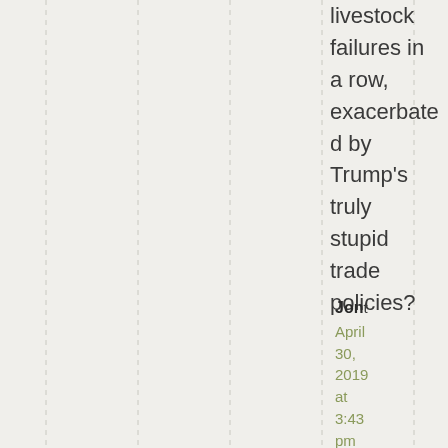livestock failures in a row, exacerbated by Trump's truly stupid trade policies?
Jon
April 30, 2019 at 3:43 pm